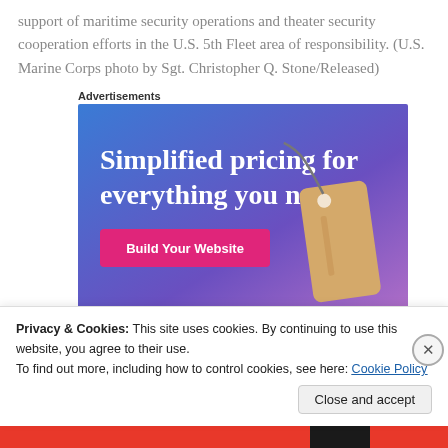support of maritime security operations and theater security cooperation efforts in the U.S. 5th Fleet area of responsibility. (U.S. Marine Corps photo by Sgt. Christopher Q. Stone/Released)
Advertisements
[Figure (screenshot): Advertisement banner: 'Simplified pricing for everything you need.' with a pink 'Build Your Website' button and a tan price tag on a blue-to-purple gradient background.]
Privacy & Cookies: This site uses cookies. By continuing to use this website, you agree to their use.
To find out more, including how to control cookies, see here: Cookie Policy